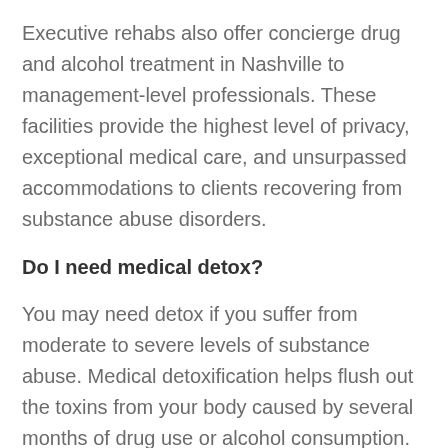Executive rehabs also offer concierge drug and alcohol treatment in Nashville to management-level professionals. These facilities provide the highest level of privacy, exceptional medical care, and unsurpassed accommodations to clients recovering from substance abuse disorders.
Do I need medical detox?
You may need detox if you suffer from moderate to severe levels of substance abuse. Medical detoxification helps flush out the toxins from your body caused by several months of drug use or alcohol consumption.